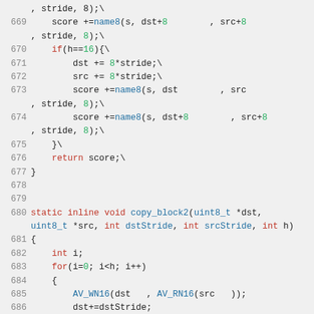Source code listing, lines 669-688, showing C functions with line numbers in gray, keywords in red, identifiers in blue, and numeric literals in green.